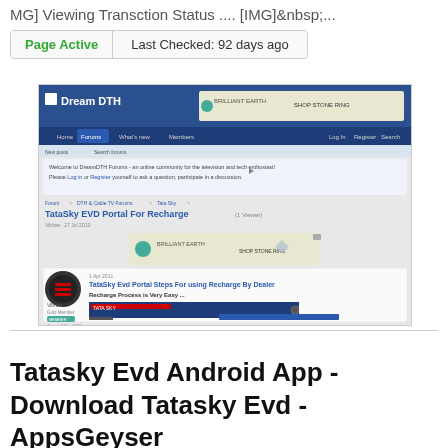MG] Viewing Transction Status .... [IMG]&nbsp;...
| Page Active | Last Checked: 92 days ago |
[Figure (screenshot): Screenshot of Dream DTH forum page showing a thread titled 'TataSky EVD Portal For Recharge' with forum navigation, advertisements, and a post showing recharge process steps.]
Tatasky Evd Android App - Download Tatasky Evd - AppsGeyser